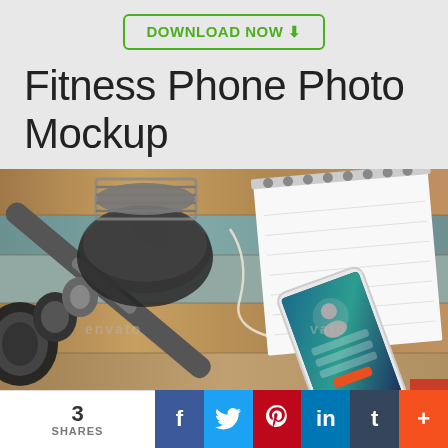DOWNLOAD NOW ↓
Fitness Phone Photo Mockup
[Figure (photo): Top-down view of fitness items on a wooden surface: dumbbell weight, earphones, a spiral notebook, a pencil, and a smartphone showing a login/profile screen with a user icon and an orange button. Envato watermarks visible.]
3 SHARES | Facebook | Twitter | Pinterest | LinkedIn | Tumblr | +